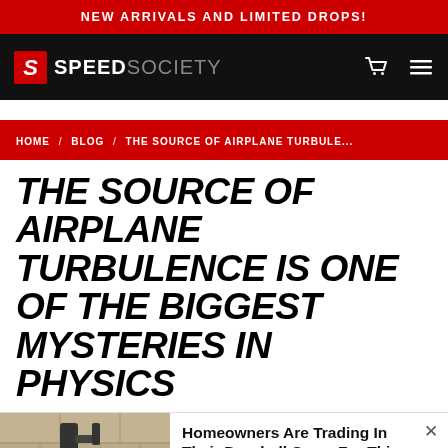NEW ARRIVALS AND LIMITED DROPS!
[Figure (logo): Speed Society logo: stylized S icon in red followed by SPEED in white bold and SOCIETY in gray on a black navigation bar, with a cart icon and hamburger menu icon on the right]
HOME / BLOG / THE SOURCE OF AIRPLANE TURBULE...
THE SOURCE OF AIRPLANE TURBULENCE IS ONE OF THE BIGGEST MYSTERIES IN PHYSICS
[Figure (photo): Photo of a security camera on a stone wall, alongside an advertisement reading: Homeowners Are Trading In Their Doorbell Cams For This — Camerca | Sponsored]